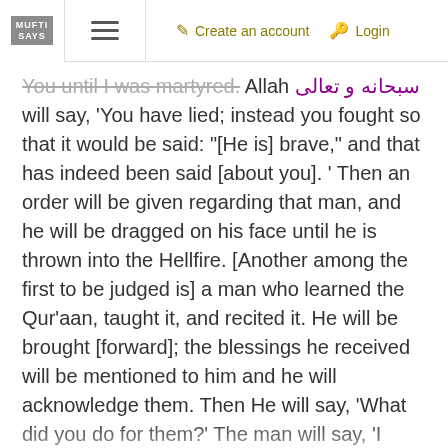MUFTI SAYS | ≡ | Create an account | Login
You until I was martyred. Allah سبحانه و تعالى will say, 'You have lied; instead you fought so that it would be said: "[He is] brave," and that has indeed been said [about you]. ' Then an order will be given regarding that man, and he will be dragged on his face until he is thrown into the Hellfire. [Another among the first to be judged is] a man who learned the Qur'aan, taught it, and recited it. He will be brought [forward]; the blessings he received will be mentioned to him and he will acknowledge them. Then He will say, 'What did you do for them?' The man will say, 'I learned knowledge and taught it. And I recited the Qur'aan for